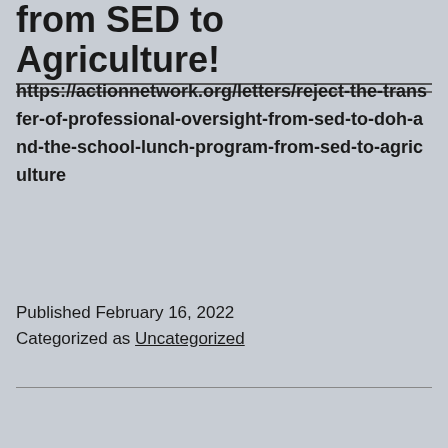from SED to Agriculture!
https://actionnetwork.org/letters/reject-the-transfer-of-professional-oversight-from-sed-to-doh-and-the-school-lunch-program-from-sed-to-agriculture
Published February 16, 2022
Categorized as Uncategorized